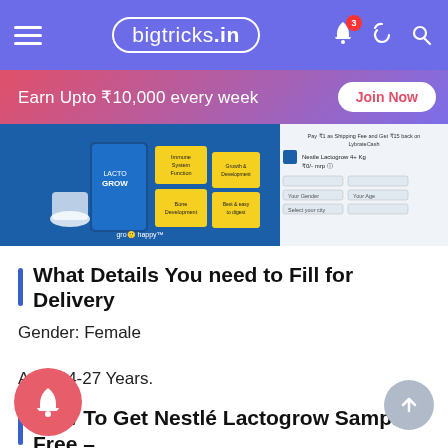bigtricks.in
[Figure (screenshot): Banner ad: Earn Upto ₹10,000 every week - Join Now button]
[Figure (screenshot): Nestlé Lactogrow product screenshot showing product details on Lybrate website]
What Details You need to Fill for Delivery
Gender: Female
Age: 24-27 Years.
How To Get Nestlé Lactogrow Sample Free –
of All Visit Offer Page of Lybrate To Order Sensodyne Free Sample Offer Page